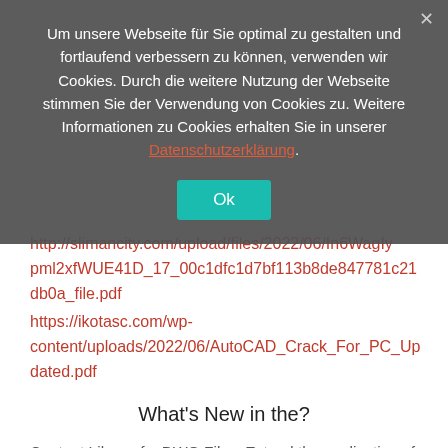Um unsere Webseite für Sie optimal zu gestalten und fortlaufend verbessern zu können, verwenden wir Cookies. Durch die weitere Nutzung der Webseite stimmen Sie der Verwendung von Cookies zu. Weitere Informationen zu Cookies erhalten Sie in unserer Datenschutzerklärung.
http://slimancity.com/upload/files/2022/06/In6WagIypml2xfWUE41D_17_00c1dfc1d7bf113b8de847781c21db0a_file.pdf
https://ikotasc.com/wp-content/uploads/2022/06/AutoCAD_Crack_For_PC_Updated.pdf
What's New in the?
Content Library for.DWG Files: Extend the application of the Content Library to CAD files that have the DWG